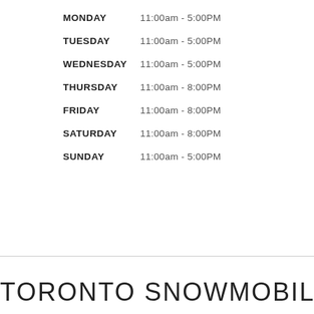MONDAY    11:00am - 5:00PM
TUESDAY    11:00am - 5:00PM
WEDNESDAY    11:00am - 5:00PM
THURSDAY    11:00am - 8:00PM
FRIDAY    11:00am - 8:00PM
SATURDAY    11:00am - 8:00PM
SUNDAY    11:00am - 5:00PM
TORONTO SNOWMOBILE